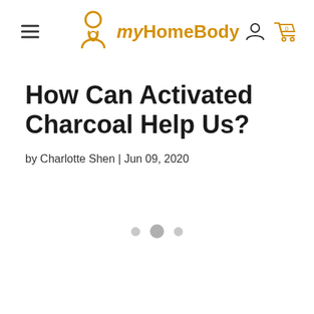myHomeBody
How Can Activated Charcoal Help Us?
by Charlotte Shen | Jun 09, 2020